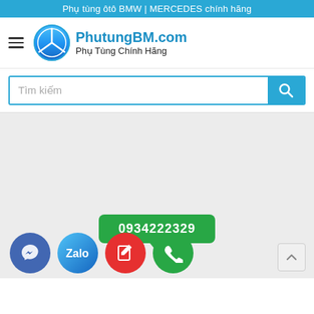Phụ tùng ôtô BMW | MERCEDES chính hãng
[Figure (logo): PhutungBM.com logo with Mercedes-Benz star icon, text PhutungBM.com and Phụ Tùng Chính Hãng]
Tìm kiếm
[Figure (screenshot): Main content area - light grey background, empty content area]
0934222329
[Figure (infographic): Bottom action bar with four circular buttons: Messenger (blue), Zalo (light blue), Edit/contact (red), Phone call (green). Scroll-to-top arrow button at bottom right.]